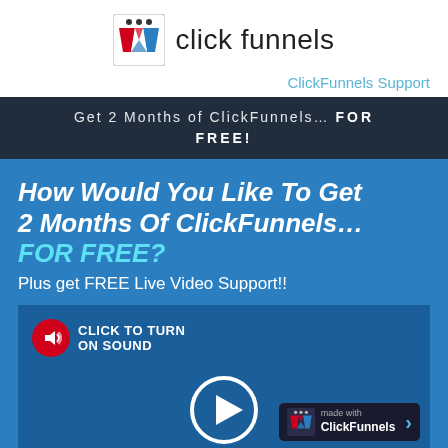[Figure (logo): ClickFunnels logo with funnel icon and text 'click funnels']
ClickFunnels Support
Get 2 Months of ClickFunnels... FOR FREE!
How Would You Like To Get 2 Months Of ClickFunnels... FOR FREE?
Plus get FREE Live Video Support!!
[Figure (screenshot): Video player area with 'Click to Turn On Sound' badge, play button, and 'made with ClickFunnels' badge]